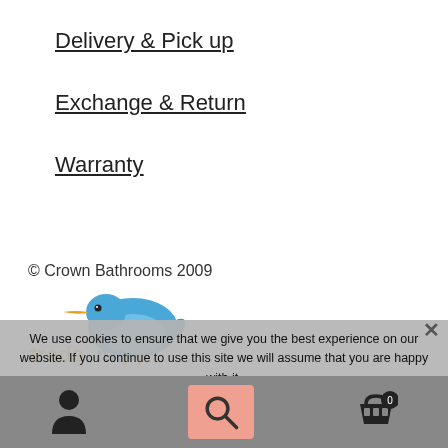Delivery & Pick up
Exchange & Return
Warranty
© Crown Bathrooms 2009
[Figure (logo): Trade Me logo with kiwi bird illustration]
We use cookies to ensure that we give you the best experience on our website. If you continue to use this site we will assume that you are happy with it.